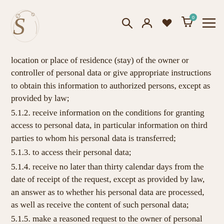[Logo] [Search] [Account] [Wishlist] [Cart: 0] [Menu]
location or place of residence (stay) of the owner or controller of personal data or give appropriate instructions to obtain this information to authorized persons, except as provided by law;
5.1.2. receive information on the conditions for granting access to personal data, in particular information on third parties to whom his personal data is transferred;
5.1.3. to access their personal data;
5.1.4. receive no later than thirty calendar days from the date of receipt of the request, except as provided by law, an answer as to whether his personal data are processed, as well as receive the content of such personal data;
5.1.5. make a reasoned request to the owner of personal data with an objection to the processing of their personal data;
5.1.6. make a reasoned request to change or destroy